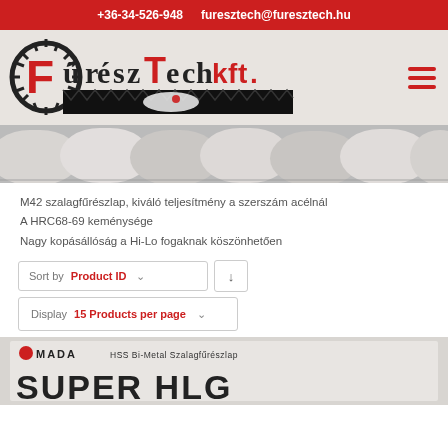+36-34-526-948  furesztech@furesztech.hu
[Figure (logo): FűrészTech kft. company logo with saw blade graphic and Hungarian flag map element]
[Figure (photo): Close-up photo of saw blades/band saw blades arranged diagonally]
M42 szalagfűrészlap, kiváló teljesítmény a szerszám acélnál
A HRC68-69 keménysége
Nagy kopásállóság a Hi-Lo fogaknak köszönhetően
Sort by Product ID ∨ ↓
Display 15 Products per page ∨
[Figure (photo): Bottom portion of AMADA HSS Bi-Metal Szalagfűrészlap SUPER HLG product image]